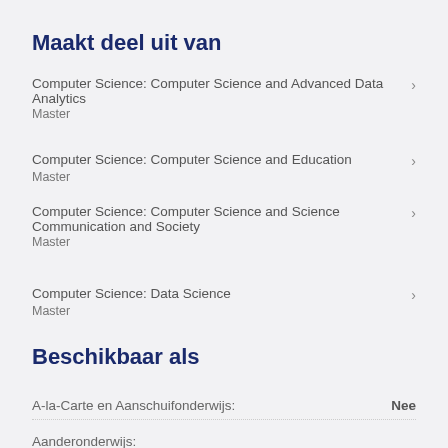Maakt deel uit van
Computer Science: Computer Science and Advanced Data Analytics
Master
Computer Science: Computer Science and Education
Master
Computer Science: Computer Science and Science Communication and Society
Master
Computer Science: Data Science
Master
Beschikbaar als
A-la-Carte en Aanschuifonderwijs:
Nee
Aanderonderwijs: